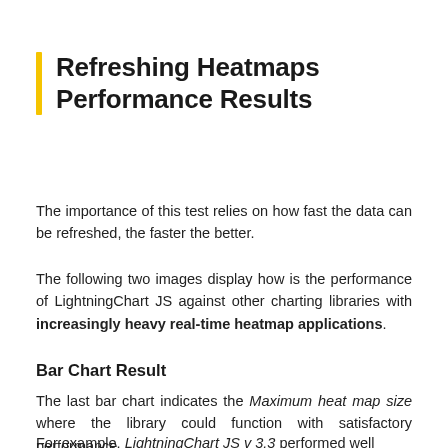Refreshing Heatmaps Performance Results
The importance of this test relies on how fast the data can be refreshed, the faster the better.
The following two images display how is the performance of LightningChart JS against other charting libraries with increasingly heavy real-time heatmap applications.
Bar Chart Result
The last bar chart indicates the Maximum heat map size where the library could function with satisfactory performance.
For example, LightningChart JS v 3.3 performed well